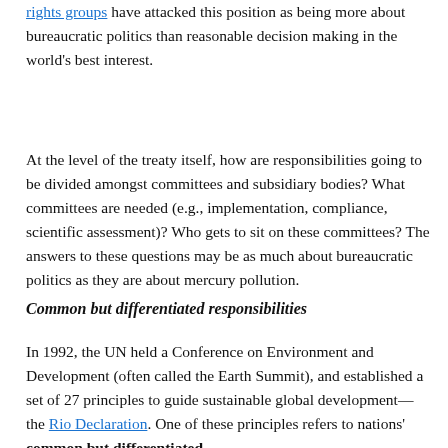rights groups have attacked this position as being more about bureaucratic politics than reasonable decision making in the world's best interest.
At the level of the treaty itself, how are responsibilities going to be divided amongst committees and subsidiary bodies? What committees are needed (e.g., implementation, compliance, scientific assessment)? Who gets to sit on these committees? The answers to these questions may be as much about bureaucratic politics as they are about mercury pollution.
Common but differentiated responsibilities
In 1992, the UN held a Conference on Environment and Development (often called the Earth Summit), and established a set of 27 principles to guide sustainable global development—the Rio Declaration. One of these principles refers to nations' common but differentiated